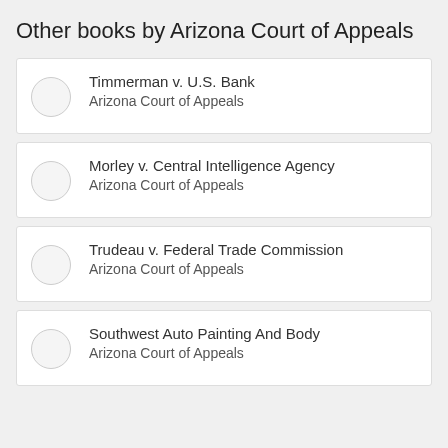Other books by Arizona Court of Appeals
Timmerman v. U.S. Bank
Arizona Court of Appeals
Morley v. Central Intelligence Agency
Arizona Court of Appeals
Trudeau v. Federal Trade Commission
Arizona Court of Appeals
Southwest Auto Painting And Body
Arizona Court of Appeals